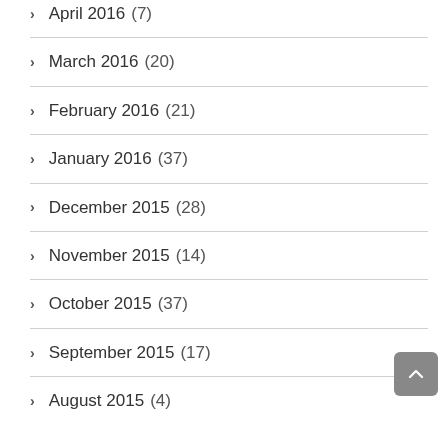April 2016 (7)
March 2016 (20)
February 2016 (21)
January 2016 (37)
December 2015 (28)
November 2015 (14)
October 2015 (37)
September 2015 (17)
August 2015 (4)